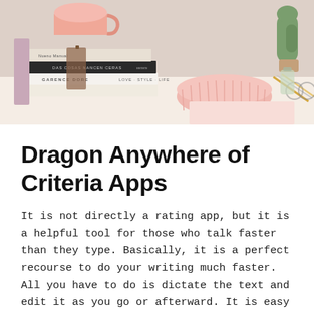[Figure (photo): A styled desk scene with a stack of books including titles by Garance Dore, a pink mug on top, a pink ribbed bowl, a cactus plant in the background, and various stationery items.]
Dragon Anywhere of Criteria Apps
It is not directly a rating app, but it is a helpful tool for those who talk faster than they type. Basically, it is a perfect recourse to do your writing much faster. All you have to do is dictate the text and edit it as you go or afterward. It is easy to use and helps to work even on the go. Maybe you can voice over